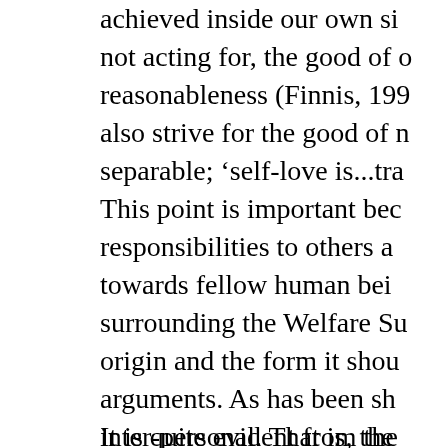achieved inside our own si... not acting for, the good of o... reasonableness (Finnis, 199... also strive for the good of n... separable; 'self-love is...tra...
This point is important bec... responsibilities to others a... towards fellow human bei... surrounding the Welfare St... origin and the form it shou... arguments. As has been sh... inter-personal. That is, the... and choose towards the we... through intermediate insti...
It is quite evident from the...